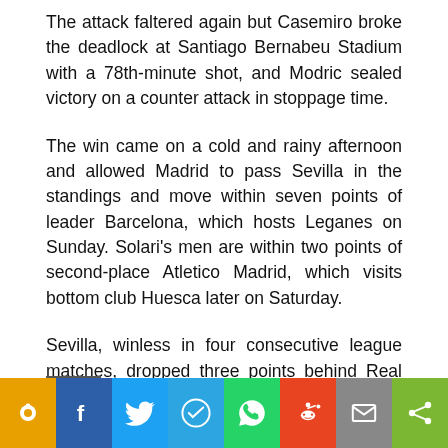The attack faltered again but Casemiro broke the deadlock at Santiago Bernabeu Stadium with a 78th-minute shot, and Modric sealed victory on a counter attack in stoppage time.
The win came on a cold and rainy afternoon and allowed Madrid to pass Sevilla in the standings and move within seven points of leader Barcelona, which hosts Leganes on Sunday. Solari's men are within two points of second-place Atletico Madrid, which visits bottom club Huesca later on Saturday.
Sevilla, winless in four consecutive league matches, dropped three points behind Real Madrid after 20 matches.
[Figure (infographic): Social share bar with icons for Ookbee, Facebook, Twitter, Telegram, WhatsApp, Reddit, Email, and Share]